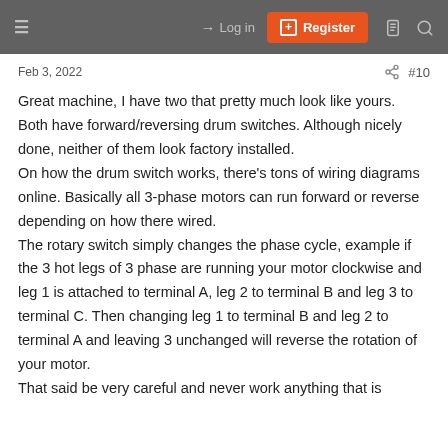Log in  Register
Feb 3, 2022  #10
Great machine, I have two that pretty much look like yours.
Both have forward/reversing drum switches. Although nicely done, neither of them look factory installed.
On how the drum switch works, there's tons of wiring diagrams online. Basically all 3-phase motors can run forward or reverse depending on how there wired.
The rotary switch simply changes the phase cycle, example if the 3 hot legs of 3 phase are running your motor clockwise and leg 1 is attached to terminal A, leg 2 to terminal B and leg 3 to terminal C. Then changing leg 1 to terminal B and leg 2 to terminal A and leaving 3 unchanged will reverse the rotation of your motor.
That said be very careful and never work anything that is